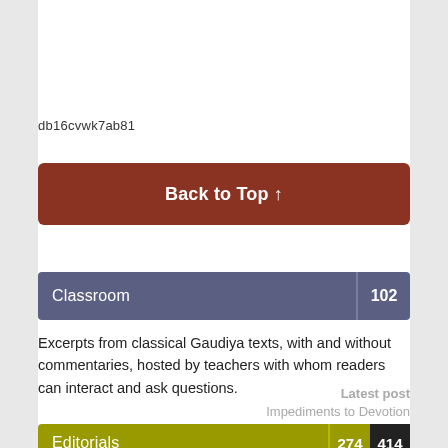db16cvwk7ab81
Back to Top ↑
Classroom 102
Excerpts from classical Gaudiya texts, with and without commentaries, hosted by teachers with whom readers can interact and ask questions.
Latest post
Impediments to Devotion
Editorials 274 414